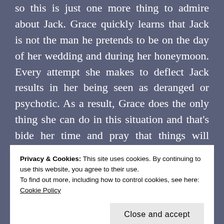so this is just one more thing to admire about Jack. Grace quickly learns that Jack is not the man he pretends to be on the day of her wedding and during her honeymoon. Every attempt she makes to deflect Jack results in her being seen as deranged or psychotic. As a result, Grace does the only thing she can do in this situation and that's bide her time and pray that things will change for the better before Millie comes to live with them. Just how far is Grace willing to go in an effort to protect Millie from Jack?
Privacy & Cookies: This site uses cookies. By continuing to use this website, you agree to their use.
To find out more, including how to control cookies, see here: Cookie Policy
Close and accept
friends and remains...